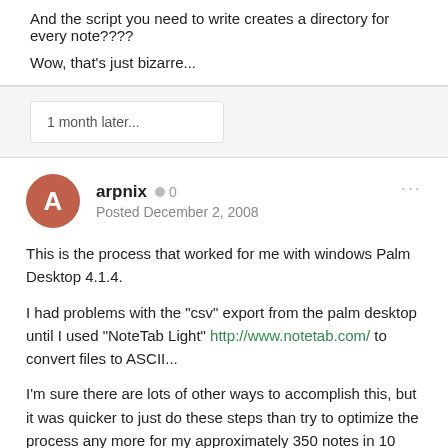And the script you need to write creates a directory for every note????
Wow, that's just bizarre...
1 month later...
arpnix  0
Posted December 2, 2008
This is the process that worked for me with windows Palm Desktop 4.1.4.
I had problems with the "csv" export from the palm desktop until I used "NoteTab Light" http://www.notetab.com/ to convert files to ASCII...
I'm sure there are lots of other ways to accomplish this, but it was quicker to just do these steps than try to optimize the process any more for my approximately 350 notes in 10 categories.
palm desktop